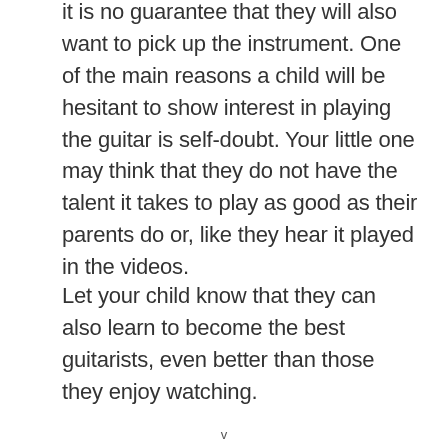it is no guarantee that they will also want to pick up the instrument. One of the main reasons a child will be hesitant to show interest in playing the guitar is self-doubt. Your little one may think that they do not have the talent it takes to play as good as their parents do or, like they hear it played in the videos.
Let your child know that they can also learn to become the best guitarists, even better than those they enjoy watching.
v